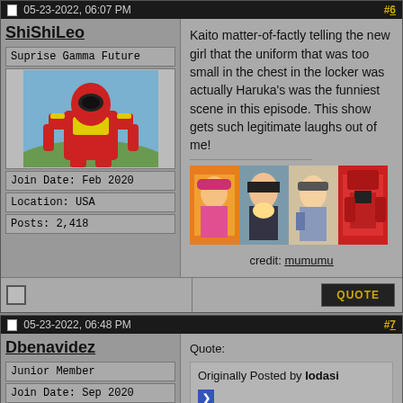05-23-2022, 06:07 PM  #6
ShiShiLeo
Suprise Gamma Future
[Figure (photo): Avatar of a red Power Rangers-style hero figure in costume against a blue sky]
Join Date: Feb 2020
Location: USA
Posts: 2,418
Kaito matter-of-factly telling the new girl that the uniform that was too small in the chest in the locker was actually Haruka's was the funniest scene in this episode. This show gets such legitimate laughs out of me!
[Figure (photo): Anime banner image showing several colorful characters side by side]
credit: mumumu
05-23-2022, 06:48 PM  #7
Dbenavidez
Junior Member
Join Date: Sep 2020
Posts: 297
Quote:
Originally Posted by Iodasi
This episode made me somewhat regret not preordering Don Onitaijin.